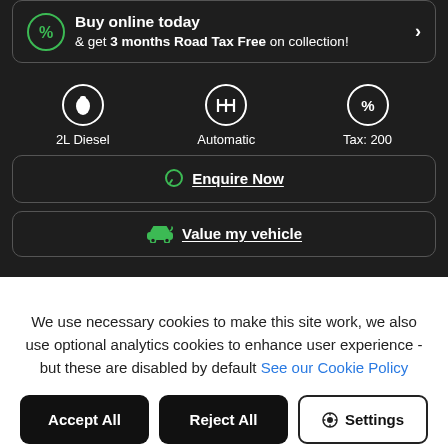Buy online today & get 3 months Road Tax Free on collection!
2L Diesel | Automatic | Tax: 200
Enquire Now
Value my vehicle
We use necessary cookies to make this site work, we also use optional analytics cookies to enhance user experience - but these are disabled by default See our Cookie Policy
Accept All
Reject All
Settings